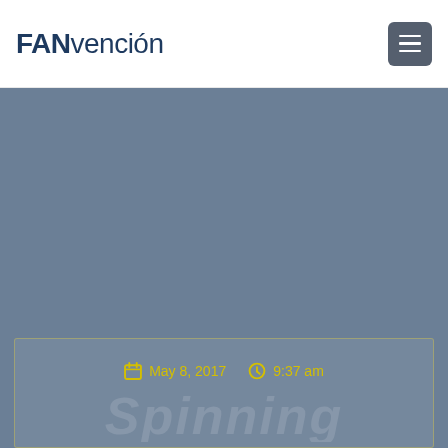FANvención
[Figure (screenshot): Blue-gray hero banner area filling the main content below the header]
May 8, 2017  9:37 am
Spinning